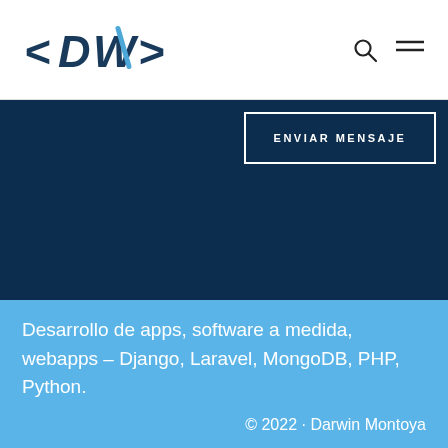<DW>
ENVIAR MENSAJE
Desarrollo de apps, software a medida, webapps – Django, Laravel, MongoDB, PHP, Python.
© 2022 · Darwin Montoya